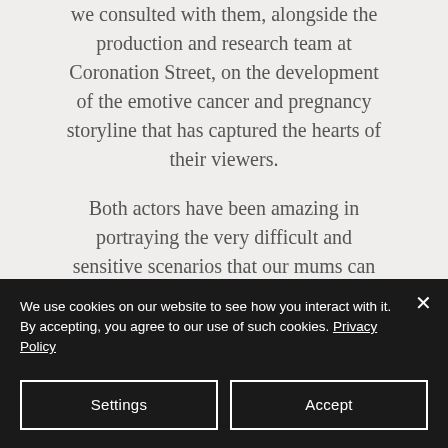we consulted with them, alongside the production and research team at Coronation Street, on the development of the emotive cancer and pregnancy storyline that has captured the hearts of their viewers.
Both actors have been amazing in portraying the very difficult and sensitive scenarios that our mums can face. They have both skilfully and beautifully delivered the emotion and factual scenes
We use cookies on our website to see how you interact with it. By accepting, you agree to our use of such cookies. Privacy Policy